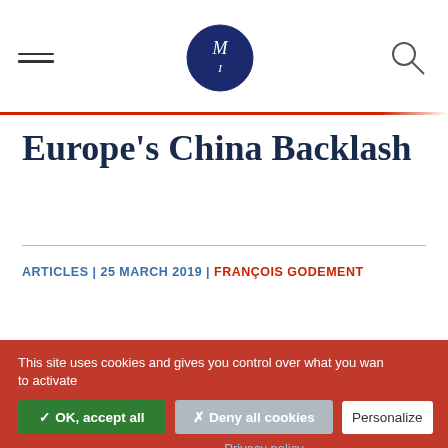Navigation bar with hamburger menu, M logo, and search icon
Europe’s China Backlash
ARTICLES | 25 MARCH 2019 | FRANÇOIS GODEMENT
This site uses cookies and gives you control over what you want to activate
✓ OK, accept all
× Deny all cookies
Personalize
Privacy policy